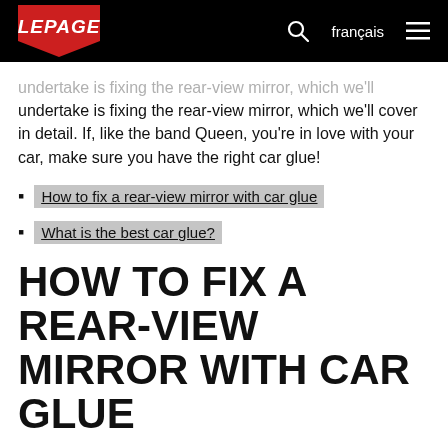LEPAGE | français
…undertake is fixing the rear-view mirror, which we'll cover in detail. If, like the band Queen, you're in love with your car, make sure you have the right car glue!
How to fix a rear-view mirror with car glue
What is the best car glue?
HOW TO FIX A REAR-VIEW MIRROR WITH CAR GLUE